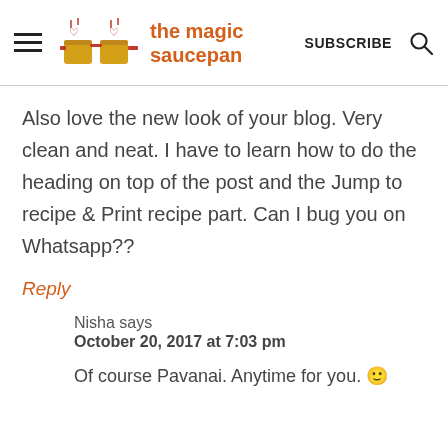the magic saucepan | SUBSCRIBE
Also love the new look of your blog. Very clean and neat. I have to learn how to do the heading on top of the post and the Jump to recipe & Print recipe part. Can I bug you on Whatsapp??
Reply
Nisha says
October 20, 2017 at 7:03 pm
Of course Pavanai. Anytime for you. 🙂